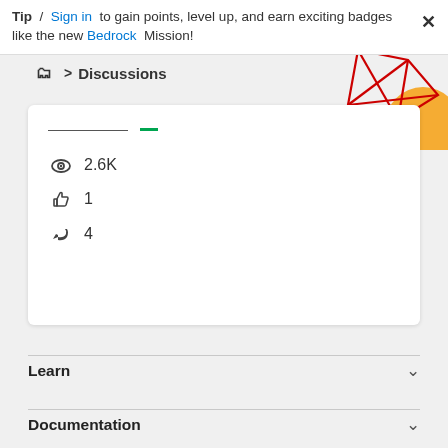Tip / Sign in to gain points, level up, and earn exciting badges like the new Bedrock Mission!
Discussions
[Figure (illustration): Decorative geometric graphic with red lines forming diamond/hexagon shapes and an orange circular shape in the top-right corner]
2.6K views, 1 like, 4 replies
Learn
Documentation